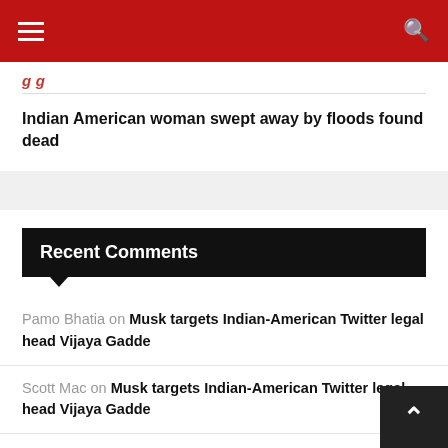Navigation header with hamburger menu and search icon
Indian American woman swept away by floods found dead
Recent Comments
Pamo Bhatia on Musk targets Indian-American Twitter legal head Vijaya Gadde
Scott Mac on Musk targets Indian-American Twitter legal head Vijaya Gadde
Regu on Atlanta teen Siddharth Raghavan's YouTube channel hits 100,000 subscribers
Pamo on New book claims 'widening rift' between Biden and Harris